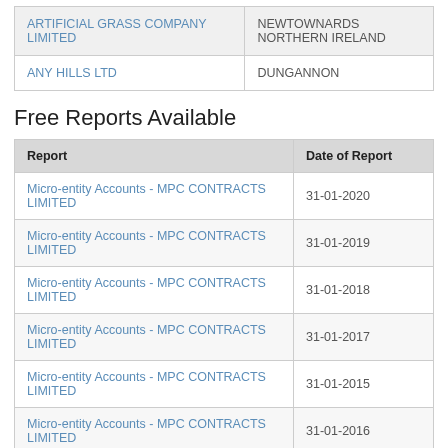|  |  |
| --- | --- |
| ARTIFICIAL GRASS COMPANY LIMITED | NEWTOWNARDS NORTHERN IRELAND |
| ANY HILLS LTD | DUNGANNON |
Free Reports Available
| Report | Date of Report |
| --- | --- |
| Micro-entity Accounts - MPC CONTRACTS LIMITED | 31-01-2020 |
| Micro-entity Accounts - MPC CONTRACTS LIMITED | 31-01-2019 |
| Micro-entity Accounts - MPC CONTRACTS LIMITED | 31-01-2018 |
| Micro-entity Accounts - MPC CONTRACTS LIMITED | 31-01-2017 |
| Micro-entity Accounts - MPC CONTRACTS LIMITED | 31-01-2015 |
| Micro-entity Accounts - MPC CONTRACTS LIMITED | 31-01-2016 |
| Abbreviated Company Accounts - MPC CONTRACTS LIMITED | 31-01-2014 |